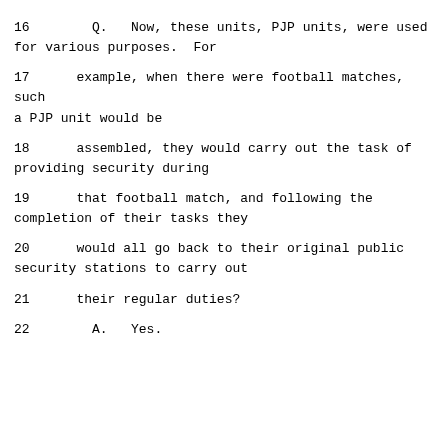16        Q.   Now, these units, PJP units, were used for various purposes.  For
17      example, when there were football matches, such a PJP unit would be
18      assembled, they would carry out the task of providing security during
19      that football match, and following the completion of their tasks they
20      would all go back to their original public security stations to carry out
21      their regular duties?
22        A.   Yes.